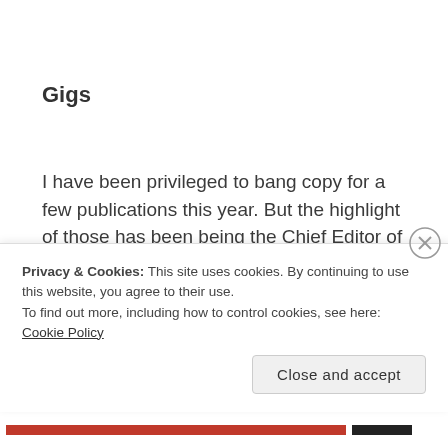Gigs
I have been privileged to bang copy for a few publications this year. But the highlight of those has been being the Chief Editor of JKUAT’s upcoming Student’s Magazine. We did a kick ass job guys, look out for that mag. in January 2017. I’m literally breaking protocol just telling this to you guys.
Privacy & Cookies: This site uses cookies. By continuing to use this website, you agree to their use.
To find out more, including how to control cookies, see here: Cookie Policy
Close and accept